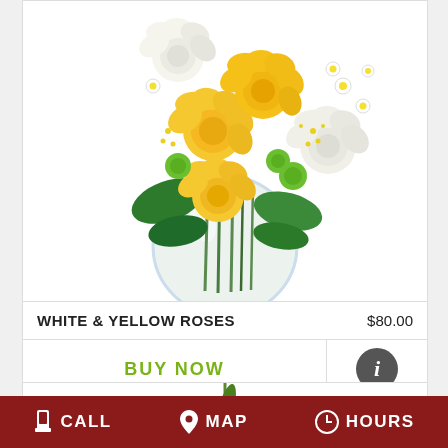[Figure (photo): A floral arrangement of white and yellow roses with green accents in a round glass vase]
WHITE & YELLOW ROSES   $80.00
BUY NOW
[Figure (other): Info icon - dark circle with letter i]
[Figure (other): Partial floral arrangement visible at bottom]
CALL   MAP   HOURS